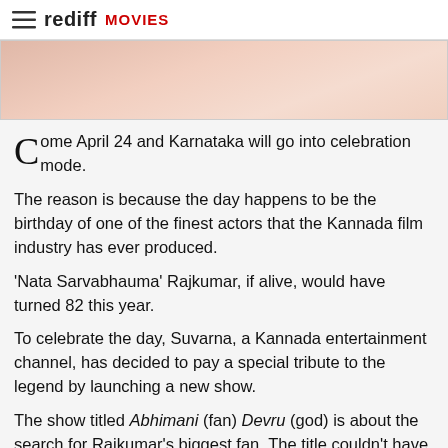rediff MOVIES
[Figure (photo): Partial photo of a person, showing upper torso area with skin tones visible, cropped at top of page]
Come April 24 and Karnataka will go into celebration mode.
The reason is because the day happens to be the birthday of one of the finest actors that the Kannada film industry has ever produced.
'Nata Sarvabhauma' Rajkumar, if alive, would have turned 82 this year.
To celebrate the day, Suvarna, a Kannada entertainment channel, has decided to pay a special tribute to the legend by launching a new show.
The show titled Abhimani (fan) Devru (god) is about the search for Rajkumar's biggest fan. The title couldn't have been better as this is how Raj fondly addressed his fans.
The channel is touring the entire state in search of the fan. "Thirty two contestants will be selected out